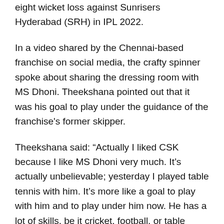eight wicket loss against Sunrisers Hyderabad (SRH) in IPL 2022.
In a video shared by the Chennai-based franchise on social media, the crafty spinner spoke about sharing the dressing room with MS Dhoni. Theekshana pointed out that it was his goal to play under the guidance of the franchise's former skipper.
Theekshana said: “Actually I liked CSK because I like MS Dhoni very much. It’s actually unbelievable; yesterday I played table tennis with him. It’s more like a goal to play with him and to play under him now. He has a lot of skills, be it cricket, football, or table tennis. I think he can do anything. It is a dream come true to play here.”
The 21-year-old bowled a tidy spell in his first-ever IPL match. While he failed to pick up a wicket in the contest, he